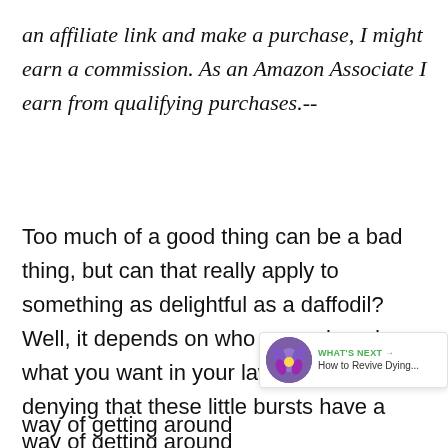an affiliate link and make a purchase, I might earn a commission. As an Amazon Associate I earn from qualifying purchases.--
Too much of a good thing can be a bad thing, but can that really apply to something as delightful as a daffodil? Well, it depends on who you ask and what you want in your lawn. There's no denying that these little bursts have a way of getting around
[Figure (infographic): Social sharing widget with a green heart icon showing count 41, and a share button below it. Also a 'WHAT'S NEXT' banner showing a purple flower image and text 'How to Revive Dying...']